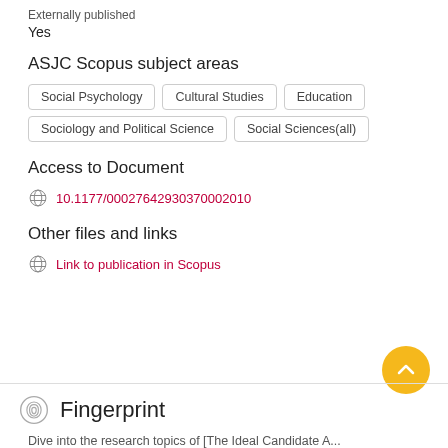Externally published
Yes
ASJC Scopus subject areas
Social Psychology
Cultural Studies
Education
Sociology and Political Science
Social Sciences(all)
Access to Document
10.1177/00027642930370002010
Other files and links
Link to publication in Scopus
Fingerprint
Dive into the research topics of [The Ideal Candidate A...